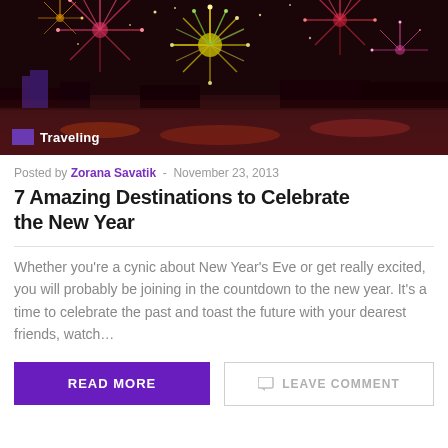[Figure (photo): Colorful fireworks display over a waterfront city at night with purple, red, and gold fireworks reflected in the water]
Posted by Zorana Savatik - November 23, 2013
7 Amazing Destinations to Celebrate the New Year
Whether you're a cynic about New Year's Eve or get really excited,  you will probably be joining in the countdown to the new year. It's a time to celebrate the past and toast the future with your dearest friends, watch…
READ MORE
LEAVE COMMENT